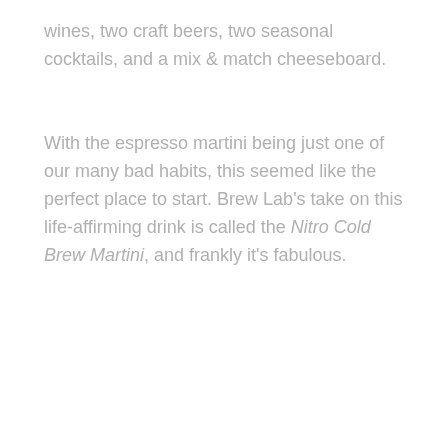wines, two craft beers, two seasonal cocktails, and a mix & match cheeseboard.
With the espresso martini being just one of our many bad habits, this seemed like the perfect place to start. Brew Lab's take on this life-affirming drink is called the Nitro Cold Brew Martini, and frankly it's fabulous.